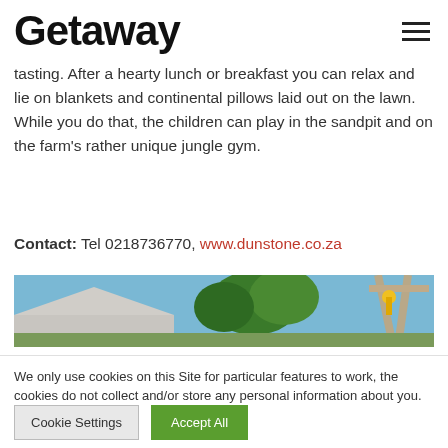Getaway
tasting. After a hearty lunch or breakfast you can relax and lie on blankets and continental pillows laid out on the lawn. While you do that, the children can play in the sandpit and on the farm's rather unique jungle gym.
Contact: Tel 0218736770, www.dunstone.co.za
[Figure (photo): Outdoor photo showing blue sky, trees and a jungle gym/swing structure]
We only use cookies on this Site for particular features to work, the cookies do not collect and/or store any personal information about you.